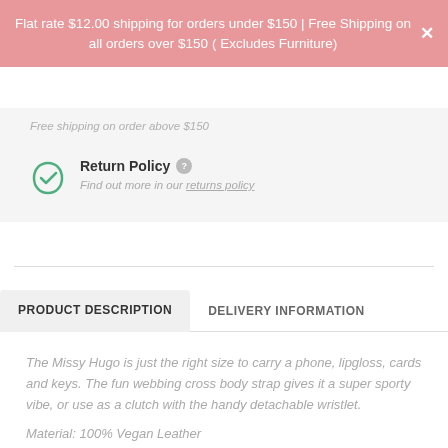Flat rate $12.00 shipping for orders under $150 | Free Shipping on all orders over $150 ( Excludes Furniture)
Free shipping on order above $150
Return Policy
Find out more in our returns policy
PRODUCT DESCRIPTION
DELIVERY INFORMATION
The Missy Hugo is just the right size to carry a phone, lipgloss, cards and keys. The fun webbing cross body strap gives it a super sporty vibe, or use as a clutch with the handy detachable wristlet.
Material: 100% Vegan Leather